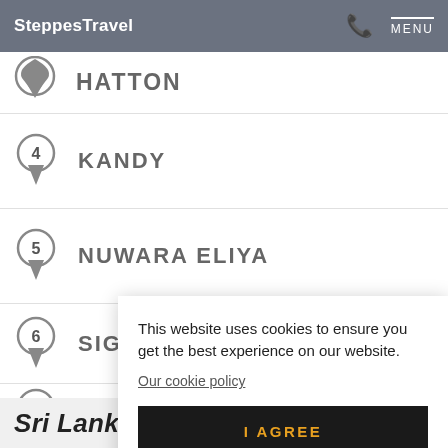SteppesTravel MENU
HATTON
4 KANDY
5 NUWARA ELIYA
6 SIGIRIYA
7
This website uses cookies to ensure you get the best experience on our website.
Our cookie policy
I AGREE
Sri Lanka Holiday Inspiration